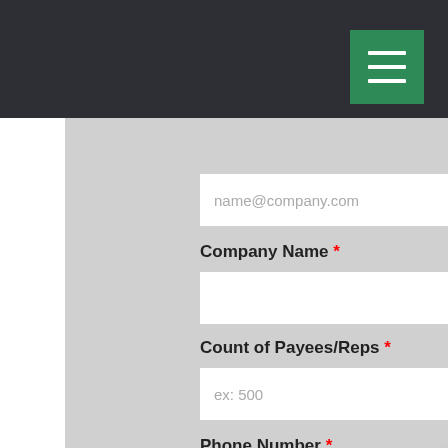[Figure (screenshot): Dark navigation bar with green hamburger menu button in top right corner]
name@company.com
Company Name *
Count of Payees/Reps *
ex: 500
Phone Number *
Hey! How may I assist you?
Click here to reply
Cookies make it easier for us to provide you with our services. With the usage of our services you permit us to use cookies. More information
Ok